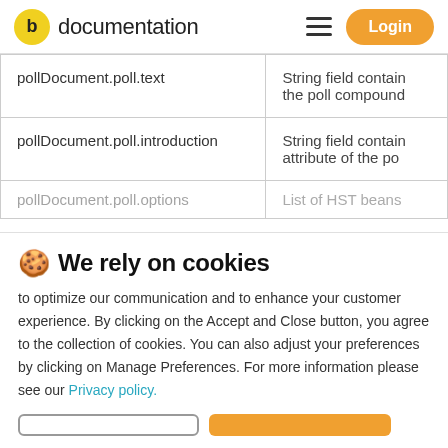b documentation | Login
| Field | Description |
| --- | --- |
| pollDocument.poll.text | String field contain the poll compound |
| pollDocument.poll.introduction | String field contain attribute of the po |
| pollDocument.poll.options | List of HST beans |
🍪 We rely on cookies
to optimize our communication and to enhance your customer experience. By clicking on the Accept and Close button, you agree to the collection of cookies. You can also adjust your preferences by clicking on Manage Preferences. For more information please see our Privacy policy.